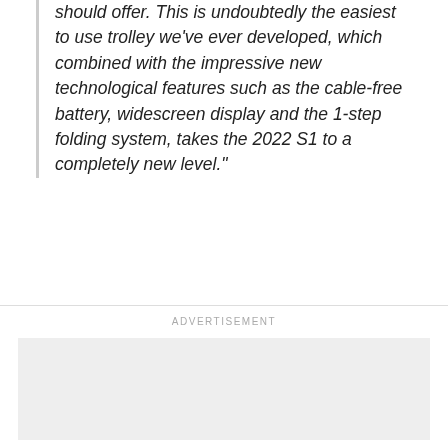should offer. This is undoubtedly the easiest to use trolley we've ever developed, which combined with the impressive new technological features such as the cable-free battery, widescreen display and the 1-step folding system, takes the 2022 S1 to a completely new level."
ADVERTISEMENT
[Figure (other): Advertisement placeholder box with light grey background]